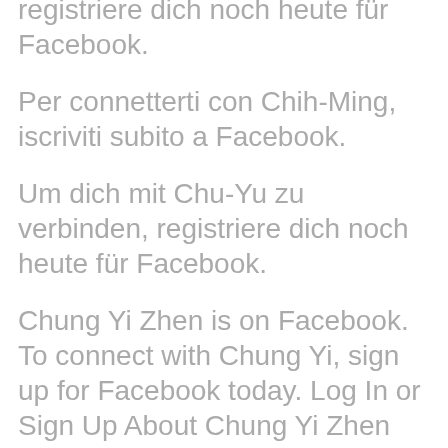registriere dich noch heute für Facebook.
Per connetterti con Chih-Ming, iscriviti subito a Facebook.
Um dich mit Chu-Yu zu verbinden, registriere dich noch heute für Facebook.
Chung Yi Zhen is on Facebook. To connect with Chung Yi, sign up for Facebook today. Log In or Sign Up About Chung Yi Zhen Current City and Home Town